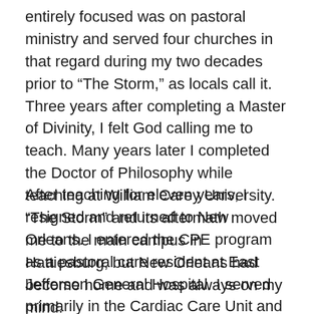entirely focused was on pastoral ministry and served four churches in that regard during my two decades prior to “The Storm,” as locals call it. Three years after completing a Master of Divinity, I felt God calling me to teach. Many years later I completed the Doctor of Philosophy while teaching at William Carey University. “The Storm” and its aftermath moved me to the main campus in Hattiesburg, but New Orleans had become home and was always on my mind.
After teaching for eleven years, I resigned and returned to New Orleans. I entered the CPE program as a pastoral care resident at East Jefferson General Hospital. I served primarily in the Cardiac Care Unit and in cardiac stepdown and telemetry. Being in the CCU afforded the opportunity to work with the Supportive Care team in cases where with love before reaching the destination. Motion is in